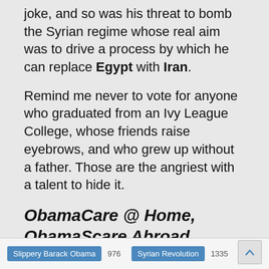joke, and so was his threat to bomb the Syrian regime whose real aim was to drive a process by which he can replace Egypt with Iran.
Remind me never to vote for anyone who graduated from an Ivy League College, whose friends raise eyebrows, and who grew up without a father. Those are the angriest with a talent to hide it.
ObamaCare @ Home, ObamaScare Abroad
Slippery Barack Obama 976  Syrian Revolution 1335